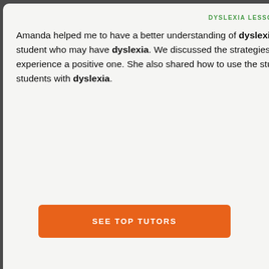DYSLEXIA LESSON
Amanda helped me to have a better understanding of dyslexia; the different types and how to assess a student who may have dyslexia. We discussed the strategies to use in order to make the student's learning experience a positive one. She also shared how to use the student's other senses to make reading easier for students with dyslexia.
We... tu... of... dy... al... di... fi... in... do... re... le...
SEE TOP TUTORS